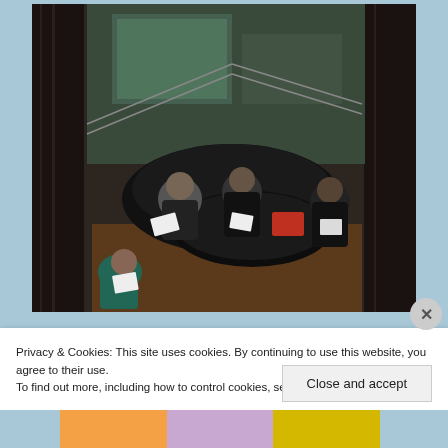[Figure (photo): Aerial/overhead view of people sitting around a round black table in a modern building lobby with marble columns and glass staircases. Three or four people dressed in dark clothing are visible from above, some holding papers or booklets. A person in a teal headscarf is visible in the lower left.]
Privacy & Cookies: This site uses cookies. By continuing to use this website, you agree to their use.
To find out more, including how to control cookies, see here: Cookie Policy